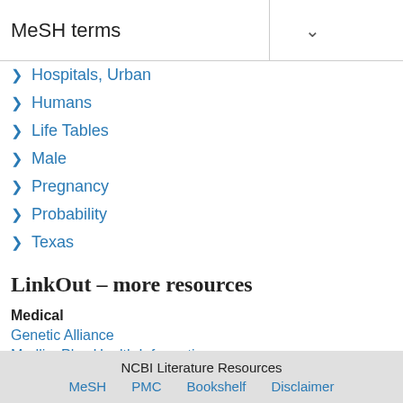MeSH terms
Hospitals, Urban
Humans
Life Tables
Male
Pregnancy
Probability
Texas
LinkOut – more resources
Medical
Genetic Alliance
MedlinePlus Health Information
NCBI Literature Resources MeSH PMC Bookshelf Disclaimer